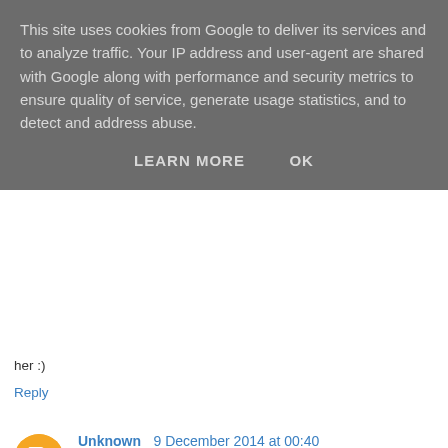This site uses cookies from Google to deliver its services and to analyze traffic. Your IP address and user-agent are shared with Google along with performance and security metrics to ensure quality of service, generate usage statistics, and to detect and address abuse.
LEARN MORE   OK
her :)
Reply
Unknown  9 December 2014 at 00:40
Actually, I'd give this to my friend who is a graphic artist and love doodling her ideas!
Reply
Jayne  9 December 2014 at 05:33
I'd use them to make handmade bookmarks for friends. I used to make a lot of bookmarks years ago but off late